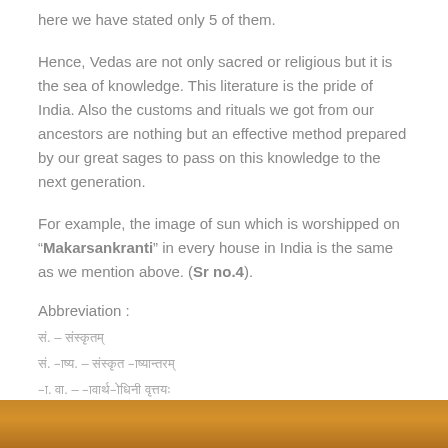here we have stated only 5 of them.
Hence, Vedas are not only sacred or religious but it is the sea of knowledge. This literature is the pride of India. Also the customs and rituals we got from our ancestors are nothing but an effective method prepared by our great sages to pass on this knowledge to the next generation.
For example, the image of sun which is worshipped on "Makarsankranti" in every house in India is the same as we mention above. (Sr no.4).
Abbreviation :
सं. – संस्कृतम्
सं. भाष्य. – संस्कृत भाष्यान्तरम्
भा. वा. – भावार्थबोधिनी वृत्तयः
[Figure (photo): Bottom strip showing a warm orange/amber colored image, likely of a sun or fire related to Makarsankranti]